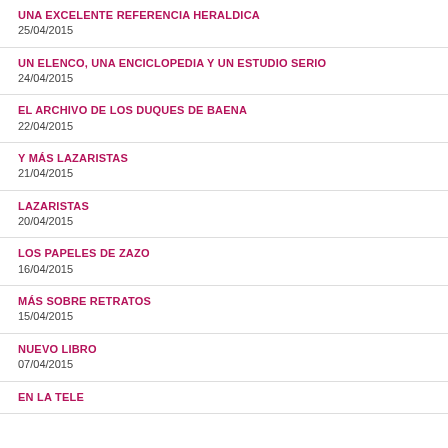UNA EXCELENTE REFERENCIA HERALDICA
25/04/2015
UN ELENCO, UNA ENCICLOPEDIA Y UN ESTUDIO SERIO
24/04/2015
EL ARCHIVO DE LOS DUQUES DE BAENA
22/04/2015
Y MÁS LAZARISTAS
21/04/2015
LAZARISTAS
20/04/2015
LOS PAPELES DE ZAZO
16/04/2015
MÁS SOBRE RETRATOS
15/04/2015
NUEVO LIBRO
07/04/2015
EN LA TELE